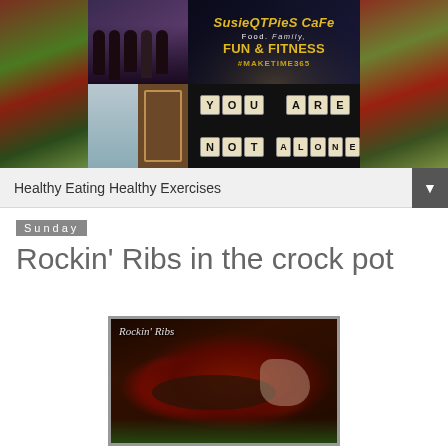[Figure (photo): SusieQTpies Cafe blog header banner showing a collage of food photos, family photos, letter dice spelling YOU ARE NOT ALONE, and the blog logo with text: SusieQTpies Cafe, Food. Family. FUN & FITNESS, #MakeTime365]
Healthy Eating Healthy Exercises
Sunday
Rockin’ Ribs in the crock pot
[Figure (photo): Photo of Rockin' Ribs - glazed pork ribs with red barbecue sauce on a plate with green garnish. Text overlay reads 'Rockin' Ribs']